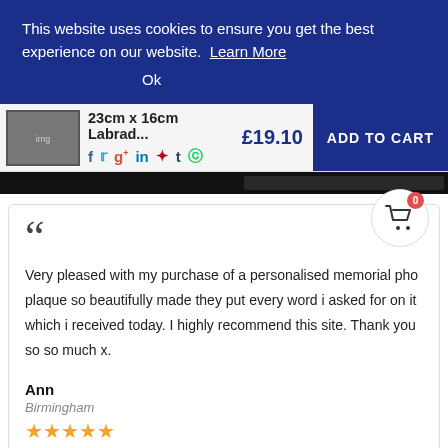This website uses cookies to ensure you get the best experience on our website. Learn More
Ok
23cm x 16cm Labrad... £19.10 ADD TO CART
Very pleased with my purchase of a personalised memorial pho... plaque so beautifully made they put every word i asked for on it which i received today. I highly recommend this site. Thank you so so much x.
Ann
Birmingham
★★★★★